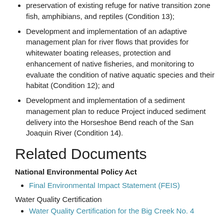preservation of existing refuge for native transition zone fish, amphibians, and reptiles (Condition 13);
Development and implementation of an adaptive management plan for river flows that provides for whitewater boating releases, protection and enhancement of native fisheries, and monitoring to evaluate the condition of native aquatic species and their habitat (Condition 12); and
Development and implementation of a sediment management plan to reduce Project induced sediment delivery into the Horseshoe Bend reach of the San Joaquin River (Condition 14).
Related Documents
National Environmental Policy Act
Final Environmental Impact Statement (FEIS)
Water Quality Certification
Water Quality Certification for the Big Creek No. 4...